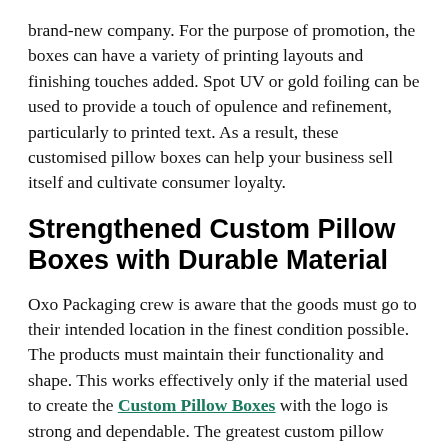brand-new company. For the purpose of promotion, the boxes can have a variety of printing layouts and finishing touches added. Spot UV or gold foiling can be used to provide a touch of opulence and refinement, particularly to printed text. As a result, these customised pillow boxes can help your business sell itself and cultivate consumer loyalty.
Strengthened Custom Pillow Boxes with Durable Material
Oxo Packaging crew is aware that the goods must go to their intended location in the finest condition possible. The products must maintain their functionality and shape. This works effectively only if the material used to create the Custom Pillow Boxes with the logo is strong and dependable. The greatest custom pillow boxes wholesale are available from our company because they